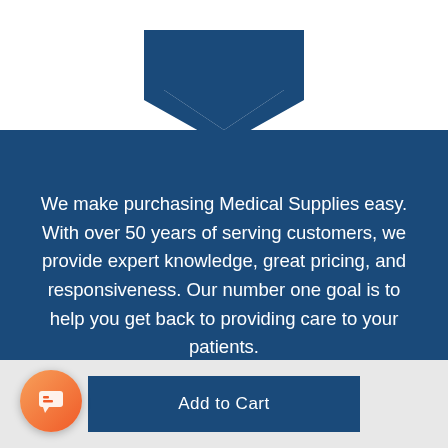[Figure (logo): Partial blue logo shape (chevron/shield form) visible at top of page]
We make purchasing Medical Supplies easy. With over 50 years of serving customers, we provide expert knowledge, great pricing, and responsiveness. Our number one goal is to help you get back to providing care to your patients.
Menu
[Figure (other): Orange/red circular chat bubble button in bottom left corner]
Add to Cart